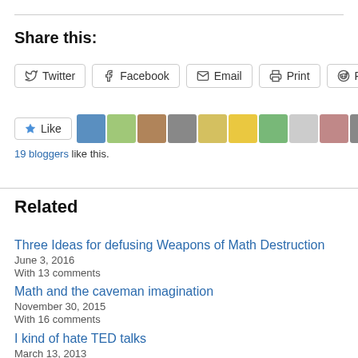Share this:
Twitter  Facebook  Email  Print  Reddit
Like  19 bloggers like this.
Related
Three Ideas for defusing Weapons of Math Destruction
June 3, 2016
With 13 comments
Math and the caveman imagination
November 30, 2015
With 16 comments
I kind of hate TED talks
March 13, 2013